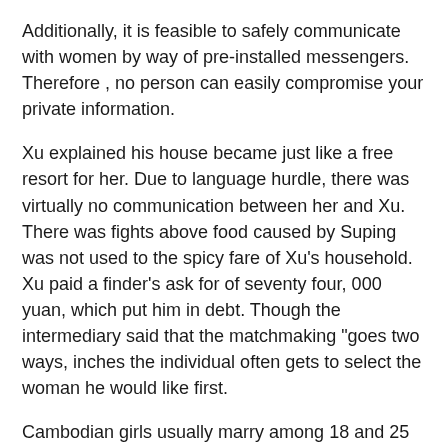Additionally, it is feasible to safely communicate with women by way of pre-installed messengers. Therefore , no person can easily compromise your private information.
Xu explained his house became just like a free resort for her. Due to language hurdle, there was virtually no communication between her and Xu. There was fights above food caused by Suping was not used to the spicy fare of Xu's household. Xu paid a finder's ask for of seventy four, 000 yuan, which put him in debt. Though the intermediary said that the matchmaking "goes two ways, inches the individual often gets to select the woman he would like first.
Cambodian girls usually marry among 18 and 25 years old. If a girlfriend older than that remains single her father and mother start to dread that simply no fascinating guy will question their daughter to get married to. However , it's not unusual for the lady smaller than 18 years old to be married into a much older man. Commonly a bridegroom is 12 years older than the bride. Alternatively, historically a person